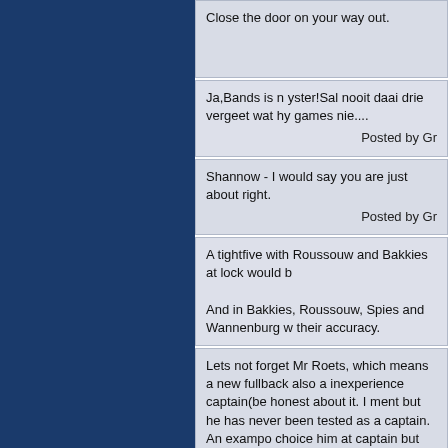Close the door on your way out.
Ja,Bands is n yster!Sal nooit daai drie vergeet wat hy games nie....
Posted by Gr
Shannow - I would say you are just about right.
Posted by Gr
A tightfive with Roussouw and Bakkies at lock would b

And in Bakkies, Roussouw, Spies and Wannenburg w their accuracy.
Lets not forget Mr Roets, which means a new fullback also a inexperience captain(be honest about it. I ment but he has never been tested as a captain. An exampo choice him at captain but he failed badly. I Still think W between wikus and the coach.Wikus did leave the lio
Wikus is a losing captain. He is great at losing speech forward than as a captain.

Fourie is the best choice for captain, to be backed up
Shannow, this is a warning my friend.Do not start with